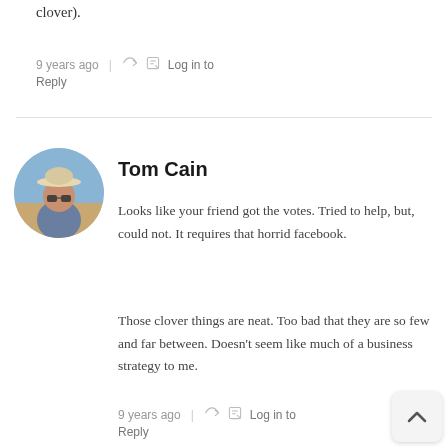clover).
9 years ago  |  Log in to Reply
Tom Cain
Looks like your friend got the votes. Tried to help, but, could not. It requires that horrid facebook.
Those clover things are neat. Too bad that they are so few and far between. Doesn't seem like much of a business strategy to me.
9 years ago  |  Log in to Reply